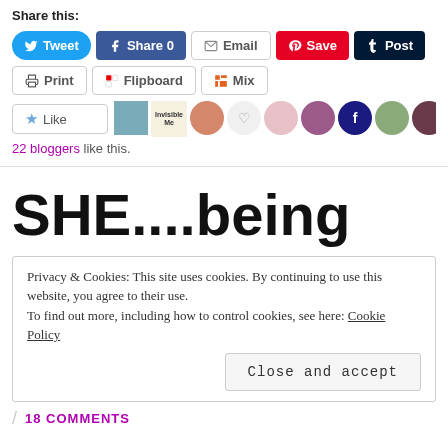Share this:
Tweet | Share 0 | Email | Save | Post | Print | Flipboard | Mix
[Figure (other): Like button with star icon and a row of 10 blogger avatar thumbnails]
22 bloggers like this.
SHE....being
Privacy & Cookies: This site uses cookies. By continuing to use this website, you agree to their use. To find out more, including how to control cookies, see here: Cookie Policy
Close and accept
18 COMMENTS